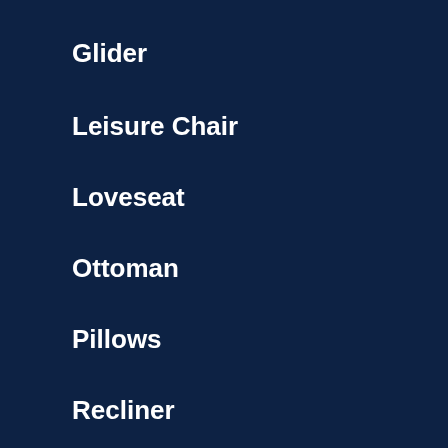Glider
Leisure Chair
Loveseat
Ottoman
Pillows
Recliner
Sand/Beach Chair
Sofa
Swivel Chair